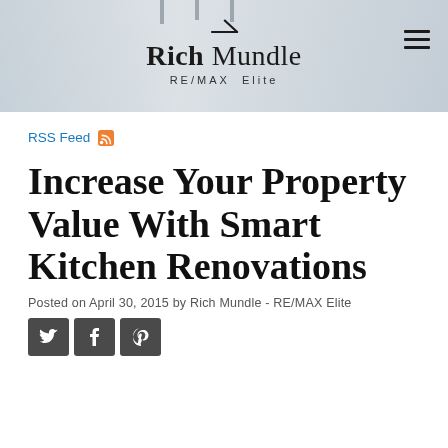Rich Mundle RE/MAX Elite
RSS Feed
Increase Your Property Value With Smart Kitchen Renovations
Posted on April 30, 2015 by Rich Mundle - RE/MAX Elite